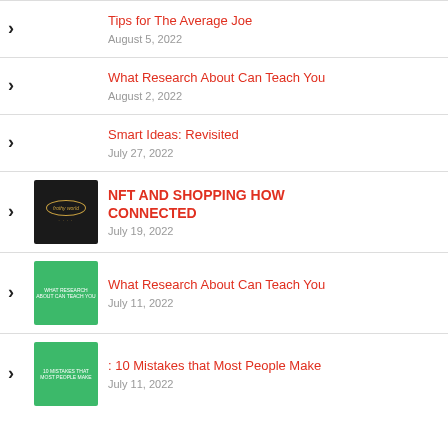Tips for The Average Joe
August 5, 2022
What Research About Can Teach You
August 2, 2022
Smart Ideas: Revisited
July 27, 2022
NFT AND SHOPPING HOW CONNECTED
July 19, 2022
What Research About Can Teach You
July 11, 2022
: 10 Mistakes that Most People Make
July 11, 2022